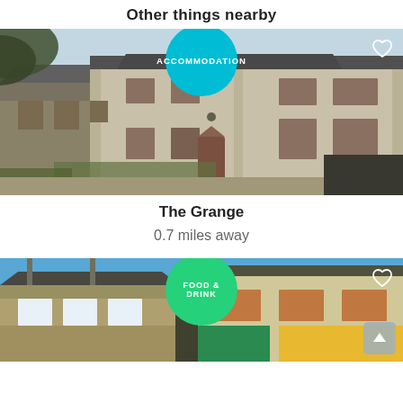Other things nearby
[Figure (photo): Photo of The Grange, a stone and rendered building with multiple windows and chimneys. A cyan circle badge reads ACCOMMODATION in the top centre. A heart icon is in the top right corner.]
The Grange
0.7 miles away
[Figure (photo): Photo of a building with blue sky behind it. A green circle badge reads FOOD & DRINK in the top centre. A heart icon is in the top right corner. A scroll-to-top button is in the bottom right.]